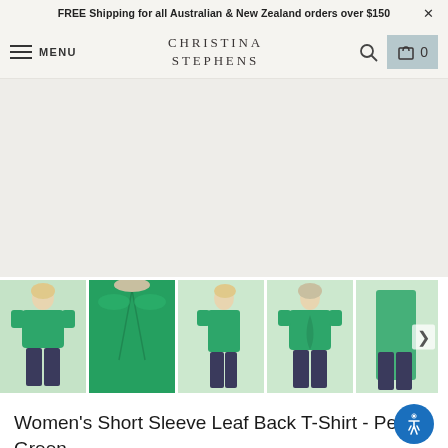FREE Shipping for all Australian & New Zealand orders over $150  ✕
MENU  CHRISTINA STEPHENS  [search] [cart] 0
[Figure (photo): Large main product image area - Women's green short sleeve t-shirt, currently blank/loading]
[Figure (photo): Thumbnail 1: Front view of woman wearing green short sleeve leaf back t-shirt]
[Figure (photo): Thumbnail 2: Close-up back detail of green t-shirt showing leaf/pleat design]
[Figure (photo): Thumbnail 3: Side view of woman wearing green short sleeve t-shirt]
[Figure (photo): Thumbnail 4: Back view of woman wearing green short sleeve t-shirt]
[Figure (photo): Thumbnail 5 (partial): Partial view of another image, possibly full length]
Women's Short Sleeve Leaf Back T-Shirt - Pea Green